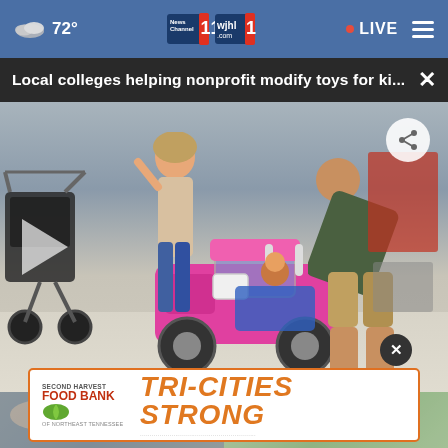72° News Channel 11 wjhl.com 11 • LIVE
Local colleges helping nonprofit modify toys for ki... ×
[Figure (screenshot): Video screenshot showing adults and a child with a pink ride-on toy jeep in an indoor setting. A play button overlay is visible on the left, and a share icon on the top right.]
[Figure (photo): Thumbnail images below the main video, showing two partial photos side by side.]
[Figure (infographic): Advertisement banner for Second Harvest Food Bank showing TRI-CITIES STRONG text in orange bold italic font, with a close button above.]